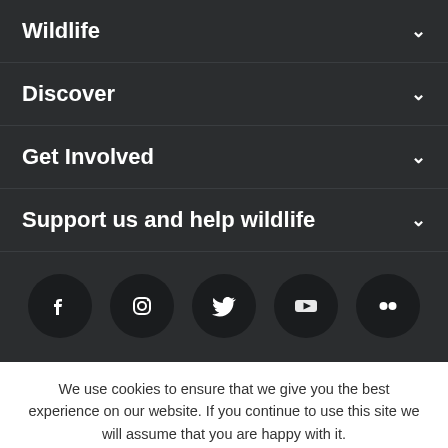Wildlife
Discover
Get Involved
Support us and help wildlife
[Figure (other): Social media icons row: Facebook, Instagram, Twitter, YouTube, Flickr — white icons on dark circular backgrounds]
We use cookies to ensure that we give you the best experience on our website. If you continue to use this site we will assume that you are happy with it.
OK   PRIVACY POLICY